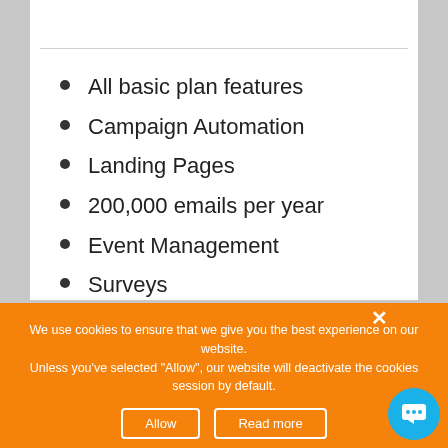All basic plan features
Campaign Automation
Landing Pages
200,000 emails per year
Event Management
Surveys
We use cookies to ensure that we give you the best experience on our website.
Unless you've selected "Allow", our website will deactivate the cookies session by default.
Allow
Read more